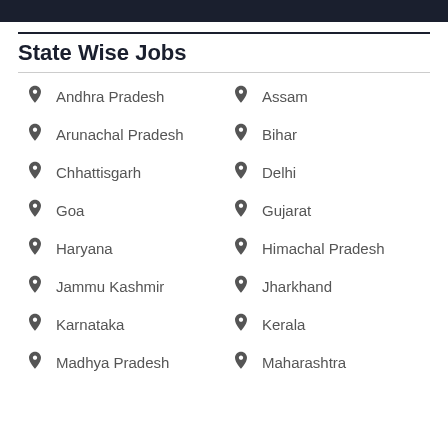State Wise Jobs
Andhra Pradesh
Assam
Arunachal Pradesh
Bihar
Chhattisgarh
Delhi
Goa
Gujarat
Haryana
Himachal Pradesh
Jammu Kashmir
Jharkhand
Karnataka
Kerala
Madhya Pradesh
Maharashtra